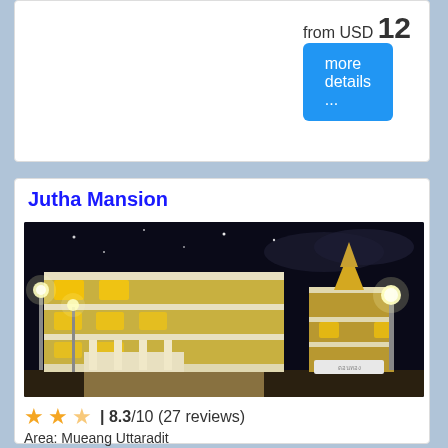from USD 12
more details ...
Jutha Mansion
[Figure (photo): Night photo of Jutha Mansion hotel building illuminated with warm yellow lights against a dark sky]
★★★½ | 8.3/10 (27 reviews)
Area: Mueang Uttaradit
Jutha Mansion